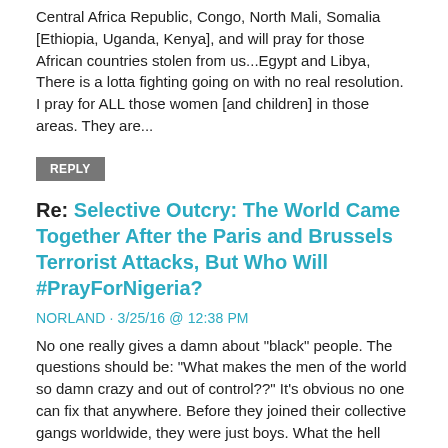Central Africa Republic, Congo, North Mali, Somalia [Ethiopia, Uganda, Kenya], and will pray for those African countries stolen from us...Egypt and Libya, There is a lotta fighting going on with no real resolution. I pray for ALL those women [and children] in those areas. They are...
REPLY
Re: Selective Outcry: The World Came Together After the Paris and Brussels Terrorist Attacks, But Who Will #PrayForNigeria?
NORLAND · 3/25/16 @ 12:38 PM
No one really gives a damn about "black" people. The questions should be: "What makes the men of the world so damn crazy and out of control??" It's obvious no one can fix that anywhere. Before they joined their collective gangs worldwide, they were just boys. What the hell happened to them???? They've turned into murderers and killers. That surpasses "beasts"!!!!!! We've been praying since the beginning of time. How is that really working out? The fact that we're not ALL DEAD; is that...
REPLY
Re: Selective Outcry: The World Came Together After the Paris and Brussels Terrorist Attacks, But